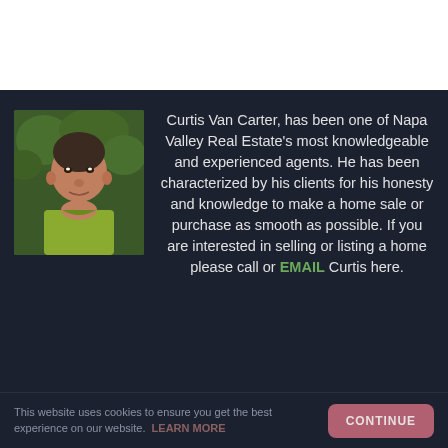[Figure (photo): Portrait photo of Curtis Van Carter, an older man wearing a yellow-green shirt, outdoors with green foliage background]
Curtis Van Carter, has been one of Napa Valley Real Estate's most knowledgeable and experienced agents. He has been characterized by his clients for his honesty and knowledge to make a home sale or purchase as smooth as possible. If you are interested in selling or listing a home please call or EMAIL Curtis here.
This website uses cookies to ensure you get the best experience on our website. LEARN MORE
CONTINUE